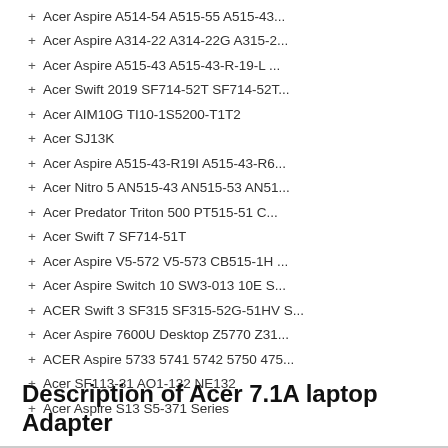+ Acer Aspire A514-54 A515-55 A515-43...
+ Acer Aspire A314-22 A314-22G A315-2...
+ Acer Aspire A515-43 A515-43-R-19-L ...
+ Acer Swift 2019 SF714-52T SF714-52T...
+ Acer AIM10G TI10-1S5200-T1T2
+ Acer SJ13K
+ Acer Aspire A515-43-R19I A515-43-R6...
+ Acer Nitro 5 AN515-43 AN515-53 AN51...
+ Acer Predator Triton 500 PT515-51 C...
+ Acer Swift 7 SF714-51T
+ Acer Aspire V5-572 V5-573 CB515-1H ...
+ Acer Aspire Switch 10 SW3-013 10E S...
+ ACER Swift 3 SF315 SF315-52G-51HV S...
+ Acer Aspire 7600U Desktop Z5770 Z31...
+ ACER Aspire 5733 5741 5742 5750 475...
+ Acer SF113-31 AO1-132 NE132
+ Acer Aspire S13 S5-371 Series
Description of Acer 7.1A laptop Adapter